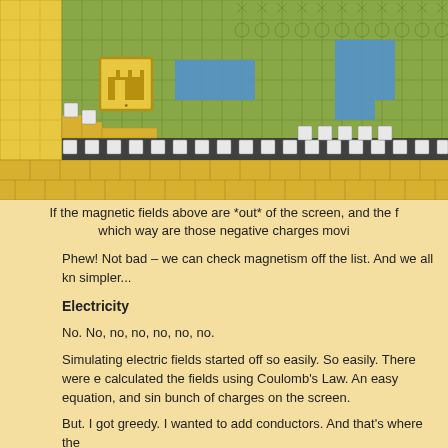[Figure (screenshot): A retro-style tile-based game screenshot showing a platformer game environment with yellow/gold brick tiles at the bottom, green tiled background, blue rectangular areas, and a row of dark tiles with white square blocks. A small castle/building icon is visible in the upper-left area of the game screen.]
If the magnetic fields above are *out* of the screen, and the f which way are those negative charges movi
Phew!  Not bad – we can check magnetism off the list.  And we all kn simpler...
Electricity
No.  No, no, no, no, no, no.
Simulating electric fields started off so easily.  So easily.  There were e calculated the fields using Coulomb's Law.  An easy equation, and sin bunch of charges on the screen.
But.  I got greedy.  I wanted to add conductors.  And that's where the